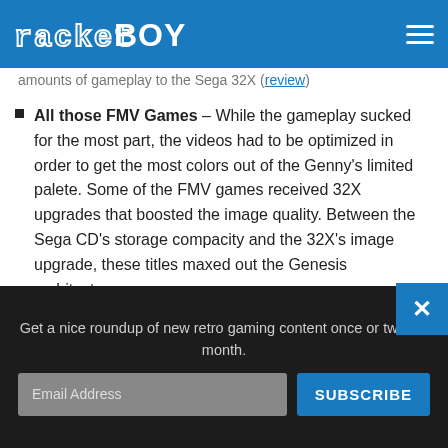rocket BOY
amounts of gameplay to the Sega 32X (review)
All those FMV Games – While the gameplay sucked for the most part, the videos had to be optimized in order to get the most colors out of the Genny's limited palete. Some of the FMV games received 32X upgrades that boosted the image quality. Between the Sega CD's storage compacity and the 32X's image upgrade, these titles maxed out the Genesis architecture.
Get a nice roundup of new retro gaming content once or twice a month.